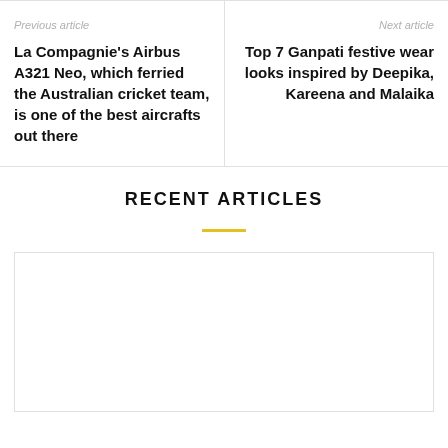Previous article
La Compagnie’s Airbus A321 Neo, which ferried the Australian cricket team, is one of the best aircrafts out there
Next article
Top 7 Ganpati festive wear looks inspired by Deepika, Kareena and Malaika
RECENT ARTICLES
[Figure (other): Empty article card placeholder]